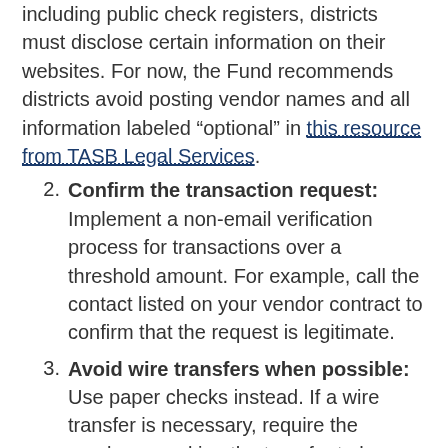including public check registers, districts must disclose certain information on their websites. For now, the Fund recommends districts avoid posting vendor names and all information labeled “optional” in this resource from TASB Legal Services.
2. Confirm the transaction request: Implement a non-email verification process for transactions over a threshold amount. For example, call the contact listed on your vendor contract to confirm that the request is legitimate.
3. Avoid wire transfers when possible: Use paper checks instead. If a wire transfer is necessary, require the employee making the transfer to have someone else review the request before